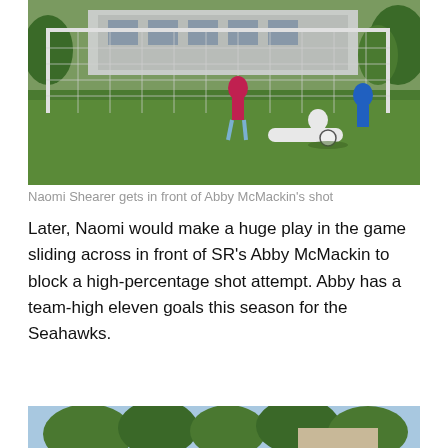[Figure (photo): Soccer game photo showing a goalkeeper (Naomi Shearer) sliding across the goal to block a shot, with a player in pink (Abby McMackin) and a player in blue on a grass field with a goal net behind them.]
Naomi Shearer gets in front of Abby McMackin’s shot
Later, Naomi would make a huge play in the game sliding across in front of SR’s Abby McMackin to block a high-percentage shot attempt. Abby has a team-high eleven goals this season for the Seahawks.
[Figure (photo): Partial bottom photo showing trees and a building exterior, cropped at bottom of page.]